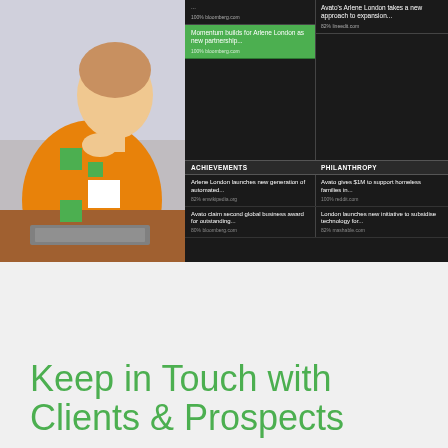[Figure (screenshot): A woman in an orange shirt looking at a computer, overlaid with a dark news/intelligence dashboard panel showing news articles categorized under sections including Achievements and Philanthropy. Green decorative squares appear over the photo. News items include: 'Momentum builds for Arlene London as new partnership...' (100% bloomberg.com, highlighted green), 'Avato's Arlene London takes a new approach to expansion...' (82% lineedit.com), ACHIEVEMENTS: 'Arlene London launches new generation of automated...' (82% enwikipedia.org), 'Avato claim second global business award for outstanding...' (80% bloomberg.com), PHILANTHROPY: 'Avato gives $1M to support homeless families in...' (100% reddit.com), 'London launches new initiative to subsidise technology for...' (82% mashable.com)]
Keep in Touch with Clients & Prospects